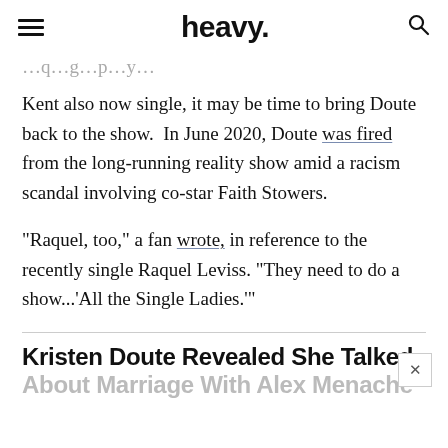heavy.
Kent also now single, it may be time to bring Doute back to the show.  In June 2020, Doute was fired from the long-running reality show amid a racism scandal involving co-star Faith Stowers.
“Raquel, too,” a fan wrote, in reference to the recently single Raquel Leviss. “They need to do a show...‘All the Single Ladies.’”
Kristen Doute Revealed She Talked About Marriage With Alex Menache